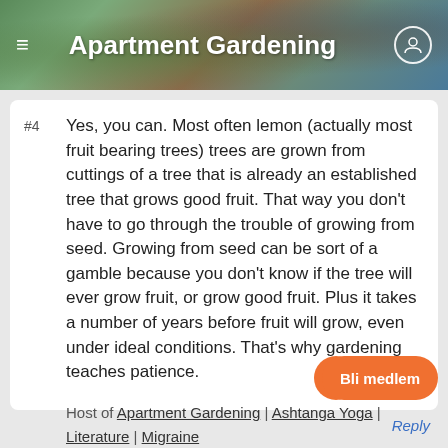Apartment Gardening
#4
Yes, you can. Most often lemon (actually most fruit bearing trees) trees are grown from cuttings of a tree that is already an established tree that grows good fruit. That way you don't have to go through the trouble of growing from seed. Growing from seed can be sort of a gamble because you don't know if the tree will ever grow fruit, or grow good fruit. Plus it takes a number of years before fruit will grow, even under ideal conditions. That's why gardening teaches patience.
Host of Apartment Gardening | Ashtanga Yoga | Literature | Migraine